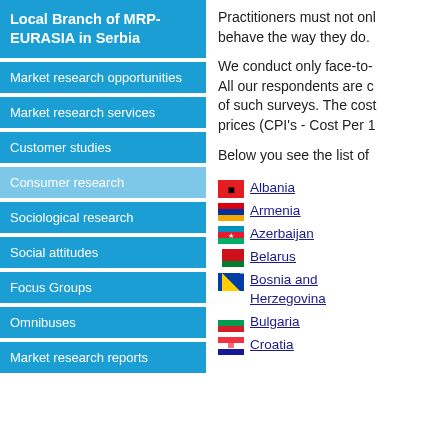Local Branch of MRP-EURASIA in Serbia
Market research opportunities
Market research services
Customer studies
Consumer research
Sociological research
Social attitudes
Focus Groups
Omnibuses
Market research reports
Practitioners must not only behave the way they do.
We conduct only face-to- All our respondents are c of such surveys. The cost prices (CPI's - Cost Per 1
Below you see the list of
Albania
Armenia
Azerbaijan
Belarus
Bosnia and Herzegovina
Bulgaria
Croatia